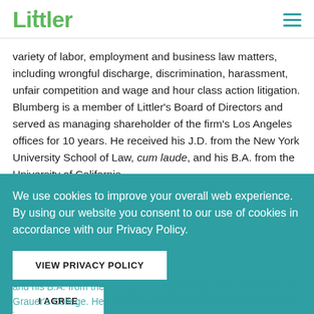Littler
variety of labor, employment and business law matters, including wrongful discharge, discrimination, harassment, unfair competition and wage and hour class action litigation. Blumberg is a member of Littler's Board of Directors and served as managing shareholder of the firm's Los Angeles offices for 10 years. He received his J.D. from the New York University School of Law, cum laude, and his B.A. from the University of California
We use cookies to improve your overall web experience. By using our website you consent to our use of cookies in accordance with our Privacy Policy.
VIEW PRIVACY POLICY
I AGREE
(behind overlay — partially visible teal text)